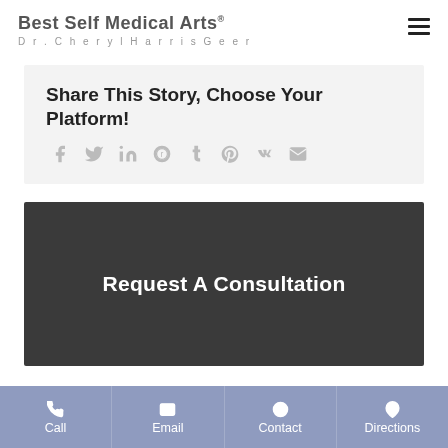Best Self Medical Arts Dr. Cheryl Harris Geer
Share This Story, Choose Your Platform!
[Figure (infographic): Social sharing icons: Facebook, Twitter, LinkedIn, Reddit, Tumblr, Pinterest, VK, Email]
Request A Consultation
Call | Email | Contact | Directions